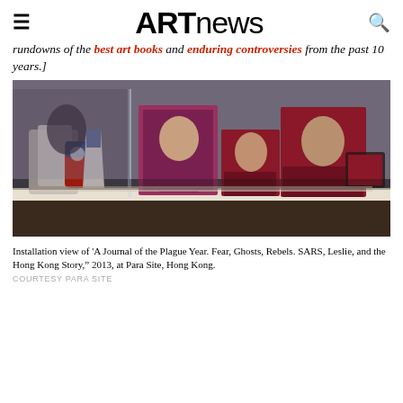ARTnews
rundowns of the best art books and enduring controversies from the past 10 years.]
[Figure (photo): Installation view of 'A Journal of the Plague Year. Fear, Ghosts, Rebels. SARS, Leslie, and the Hong Kong Story,' 2013, at Para Site, Hong Kong. Shows display cases with Pepsi cups, magazines, and memorabilia with portraits of a person.]
Installation view of 'A Journal of the Plague Year. Fear, Ghosts, Rebels. SARS, Leslie, and the Hong Kong Story," 2013, at Para Site, Hong Kong.
COURTESY PARA SITE